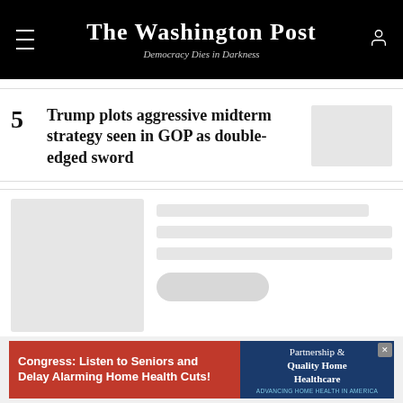The Washington Post — Democracy Dies in Darkness
Trump plots aggressive midterm strategy seen in GOP as double-edged sword
[Figure (photo): Thumbnail placeholder image for article 5]
[Figure (photo): Loading skeleton image placeholder]
[Figure (other): Loading skeleton content placeholders with button]
[Figure (other): Advertisement banner: Congress: Listen to Seniors and Delay Alarming Home Health Cuts! — Partnership for Quality Home Healthcare]